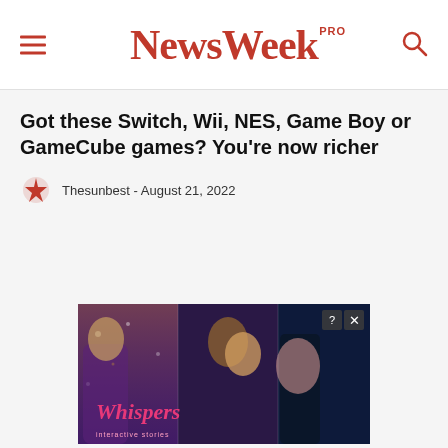NewsWeek PRO
Got these Switch, Wii, NES, Game Boy or GameCube games? You're now richer
Thesunbest - August 21, 2022
[Figure (photo): Advertisement banner for Whispers interactive story game showing romantic illustrated characters]